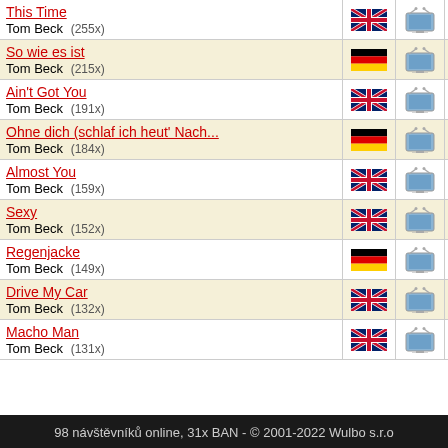This Time - Tom Beck (255x) | Šrouby a ma... - Mandrage
So wie es ist - Tom Beck (215x) | Stonka - Kristina
Ain't Got You - Tom Beck (191x) | Tepláky - Nightwork
Ohne dich (schlaf ich heut' Nach... - Tom Beck (184x) | Schody z ne... - Tereza Kern...
Almost You - Tom Beck (159x) | Cesta - Kryštof & To...
Sexy - Tom Beck (152x) | Stejný cíl ma... - Ewa Farna &...
Regenjacke - Tom Beck (149x) | Pánubohud... - Tomáš Klus
Drive My Car - Tom Beck (132x) | Take Me To... - Hozier
Macho Man - Tom Beck (131x) | Pussy - Rammstein
98 návštěvníků online, 31x BAN - © 2001-2022 Wulbo s.r.o